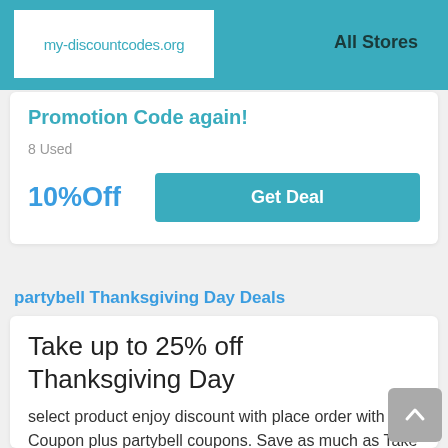my-discountcodes.org | All Stores
Promotion Code again!
8 Used
10%Off
Get Deal
partybell Thanksgiving Day Deals
Take up to 25% off Thanksgiving Day
select product enjoy discount with place order with Coupon plus partybell coupons. Save as much as Take up to